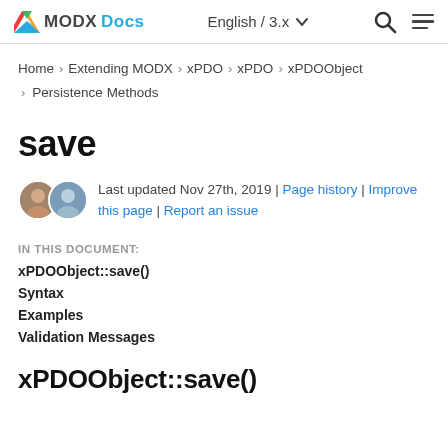MODX Docs | English / 3.x
Home > Extending MODX > xPDO > xPDO > xPDOObject > Persistence Methods
save
Last updated Nov 27th, 2019 | Page history | Improve this page | Report an issue
IN THIS DOCUMENT:
xPDOObject::save()
Syntax
Examples
Validation Messages
xPDOObject::save()